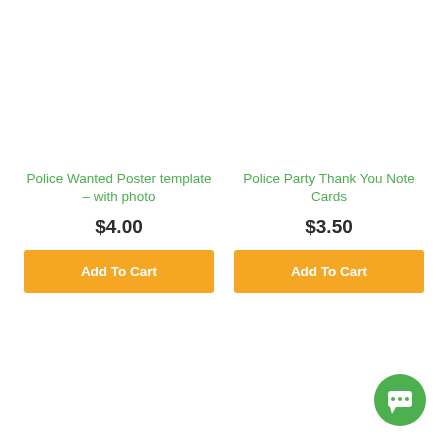Police Wanted Poster template – with photo
$4.00
Add To Cart
Police Party Thank You Note Cards
$3.50
Add To Cart
[Figure (illustration): Green circle chat bubble icon in bottom right corner]